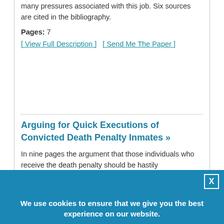many pressures associated with this job. Six sources are cited in the bibliography.
Pages: 7
[ View Full Description ]    [ Send Me The Paper ]
Arguing for Quick Executions of Convicted Death Penalty Inmates »
In nine pages the argument that those individuals who receive the death penalty should be hastily
We use cookies to ensure that we give you the best experience on our website.